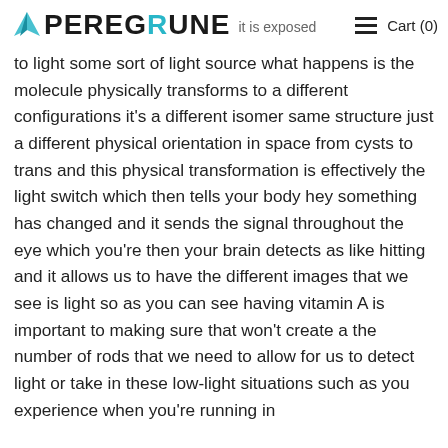PEREGRUNE  it is exposed  Cart (0)
to light some sort of light source what happens is the molecule physically transforms to a different configurations it's a different isomer same structure just a different physical orientation in space from cysts to trans and this physical transformation is effectively the light switch which then tells your body hey something has changed and it sends the signal throughout the eye which you're then your brain detects as like hitting and it allows us to have the different images that we see is light so as you can see having vitamin A is important to making sure that won't create a the number of rods that we need to allow for us to detect light or take in these low-light situations such as you experience when you're running in